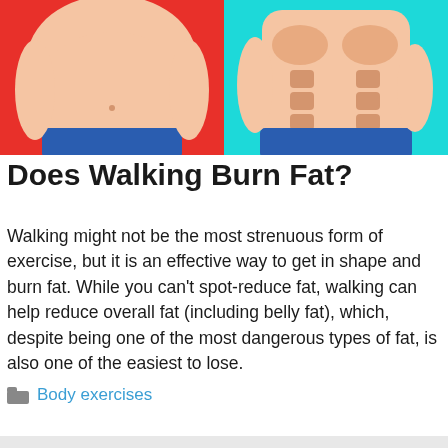[Figure (illustration): Side-by-side comic-style illustration of two male torsos: left figure with large belly on a red background, right figure with muscular abs on a cyan/turquoise background, both wearing blue shorts.]
Does Walking Burn Fat?
Walking might not be the most strenuous form of exercise, but it is an effective way to get in shape and burn fat. While you can't spot-reduce fat, walking can help reduce overall fat (including belly fat), which, despite being one of the most dangerous types of fat, is also one of the easiest to lose.
Body exercises